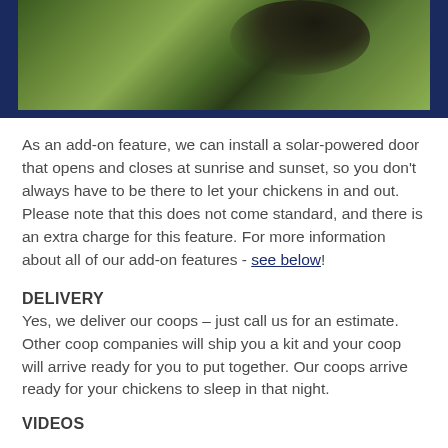[Figure (photo): Photo of a chicken or dark bird among green foliage/bushes, shown with a dark navy blue border frame. Only the top portion of the image is visible.]
As an add-on feature, we can install a solar-powered door that opens and closes at sunrise and sunset, so you don't always have to be there to let your chickens in and out. Please note that this does not come standard, and there is an extra charge for this feature. For more information about all of our add-on features - see below!
DELIVERY
Yes, we deliver our coops – just call us for an estimate. Other coop companies will ship you a kit and your coop will arrive ready for you to put together. Our coops arrive ready for your chickens to sleep in that night.
VIDEOS